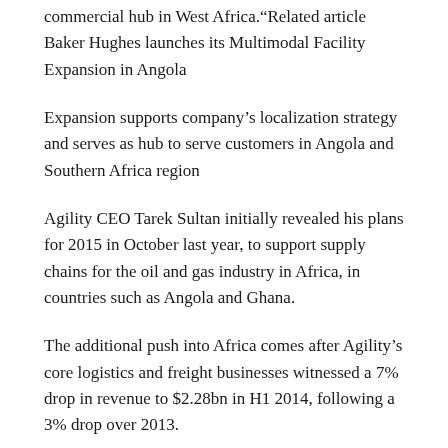commercial hub in West Africa.“Related article Baker Hughes launches its Multimodal Facility Expansion in Angola
Expansion supports company’s localization strategy and serves as hub to serve customers in Angola and Southern Africa region
Agility CEO Tarek Sultan initially revealed his plans for 2015 in October last year, to support supply chains for the oil and gas industry in Africa, in countries such as Angola and Ghana.
The additional push into Africa comes after Agility’s core logistics and freight businesses witnessed a 7% drop in revenue to $2.28bn in H1 2014, following a 3% drop over 2013.